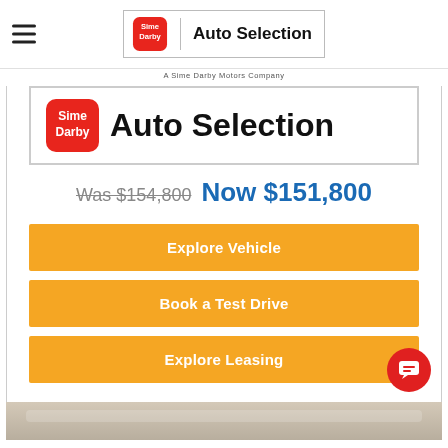[Figure (logo): Sime Darby Auto Selection logo with hamburger menu on the left]
A Sime Darby Motors Company
[Figure (logo): Sime Darby Auto Selection large logo banner]
Was $154,800  Now $151,800
Explore Vehicle
Book a Test Drive
Explore Leasing
[Figure (photo): Bottom strip showing interior of car dealership]